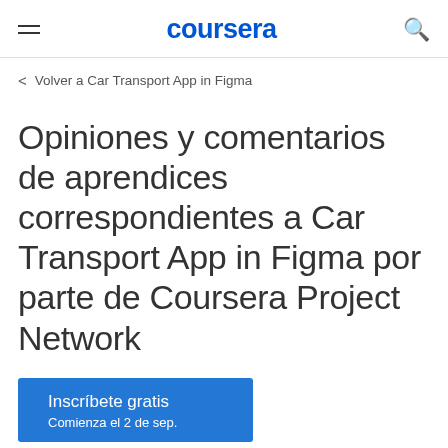coursera
Volver a Car Transport App in Figma
Opiniones y comentarios de aprendices correspondientes a Car Transport App in Figma por parte de Coursera Project Network
Inscríbete gratis
Comienza el 2 de sep.